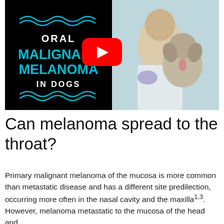[Figure (screenshot): YouTube video thumbnail split into two halves. Left half: black background with teal squiggly lines top and bottom, white bold text 'ORAL', large teal bold text 'MALIGNANT MELANOMA', white bold text 'IN DOGS'. Center: red YouTube play button overlay. Right half: photo of a smiling female veterinarian with glasses holding/examining a fluffy Pomeranian dog.]
Can melanoma spread to the throat?
Primary malignant melanoma of the mucosa is more common than metastatic disease and has a different site predilection, occurring more often in the nasal cavity and the maxilla1,3. However, melanoma metastatic to the mucosa of the head and neck has been reported to occur from a broad